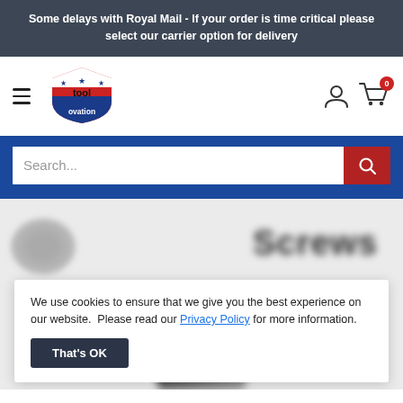Some delays with Royal Mail - If your order is time critical please select our carrier option for delivery
[Figure (logo): Toolovation logo — red shield shape with stars and the text 'tool ovation']
[Figure (screenshot): Search bar with blue background and red search button on right]
We use cookies to ensure that we give you the best experience on our website.  Please read our Privacy Policy for more information.
That's OK